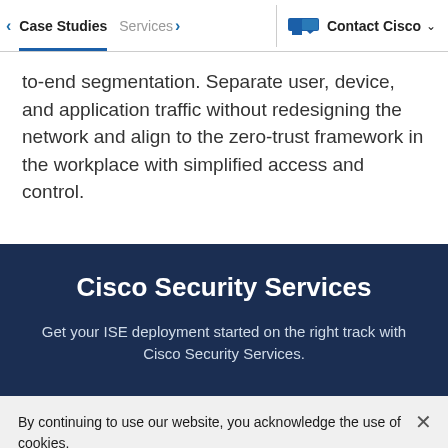Case Studies | Services | Contact Cisco
to-end segmentation. Separate user, device, and application traffic without redesigning the network and align to the zero-trust framework in the workplace with simplified access and control.
Cisco Security Services
Get your ISE deployment started on the right track with Cisco Security Services.
By continuing to use our website, you acknowledge the use of cookies.
Privacy Statement > Change Settings >